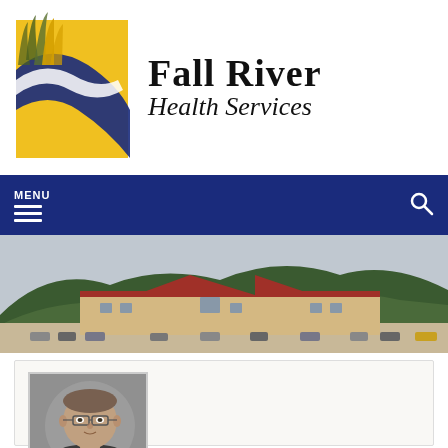[Figure (logo): Fall River Health Services logo with yellow and blue swoosh/leaf design on white background]
Fall River Health Services
MENU
[Figure (photo): Panoramic exterior photo of Fall River Health Services building with red roof, parking lot, and forested hills in background]
[Figure (photo): Headshot/portrait photo of a man wearing glasses, professional attire, gray background]